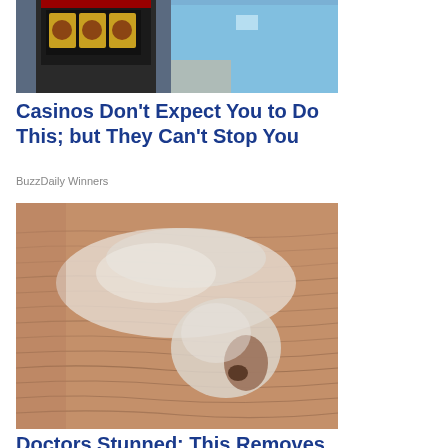[Figure (photo): Person in blue shirt standing at a slot machine in a casino]
Casinos Don't Expect You to Do This; but They Can't Stop You
BuzzDaily Winners
[Figure (photo): Close-up of an elderly person's face with wrinkled skin and a white cream or mask applied]
Doctors Stunned: This Removes